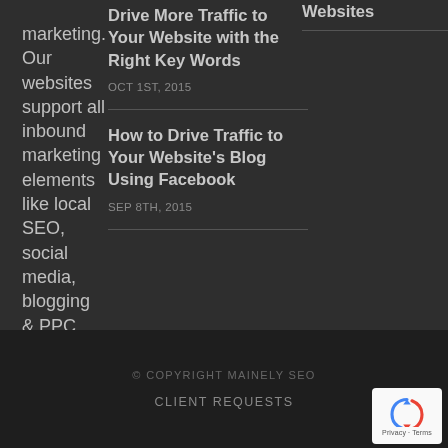marketing. Our websites support all inbound marketing elements like local SEO, social media, blogging & PPC
Drive More Traffic to Your Website with the Right Key Words
OCT 1ST, 2015
How to Drive Traffic to Your Website's Blog Using Facebook
SEP 8TH, 2015
Websites
© COPYRIGHT MAINELY SEO
CLIENT REQUESTS